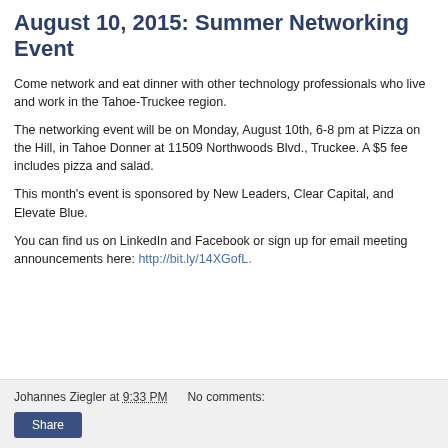August 10, 2015: Summer Networking Event
Come network and eat dinner with other technology professionals who live and work in the Tahoe-Truckee region.
The networking event will be on Monday, August 10th, 6-8 pm at Pizza on the Hill, in Tahoe Donner at 11509 Northwoods Blvd., Truckee. A $5 fee includes pizza and salad.
This month's event is sponsored by New Leaders, Clear Capital, and Elevate Blue.
You can find us on LinkedIn and Facebook or sign up for email meeting announcements here: http://bit.ly/14XGofL.
Johannes Ziegler at 9:33 PM   No comments:   Share